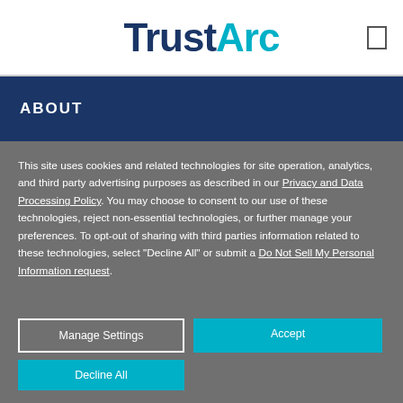TrustArc
ABOUT
This site uses cookies and related technologies for site operation, analytics, and third party advertising purposes as described in our Privacy and Data Processing Policy. You may choose to consent to our use of these technologies, reject non-essential technologies, or further manage your preferences. To opt-out of sharing with third parties information related to these technologies, select "Decline All" or submit a Do Not Sell My Personal Information request.
Manage Settings | Accept | Decline All